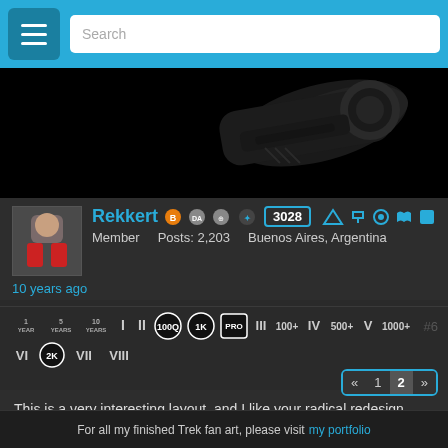Search
[Figure (photo): 3D rendered sci-fi weapon or device part on black background]
Rekkert  3028  Member  Posts: 2,203  Buenos Aires, Argentina
10 years ago
[Figure (infographic): User achievement badges: 1 year, 5 years, 10 years, rank I, II, 100Q, 1K, PRO, III, 100+, IV, 500+, V, 1000+, #6, VI, 2K, VII, VIII]
This is a very interesting layout, and I like your radical redesign very much.
For all my finished Trek fan art, please visit my portfolio